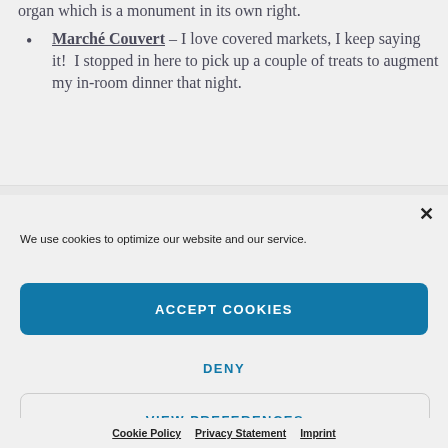organ which is a monument in its own right.
Marché Couvert – I love covered markets, I keep saying it!  I stopped in here to pick up a couple of treats to augment my in-room dinner that night.
We use cookies to optimize our website and our service.
ACCEPT COOKIES
DENY
VIEW PREFERENCES
Cookie Policy  Privacy Statement  Imprint